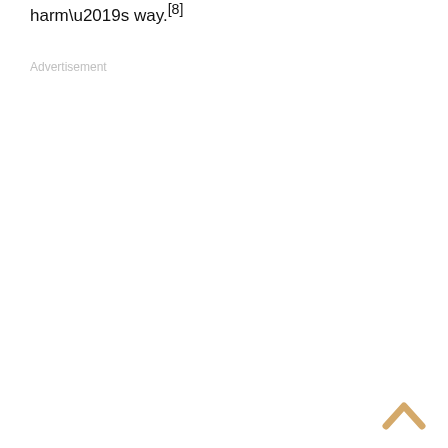harm’s way.[8]
Advertisement
[Figure (other): Scroll-to-top chevron arrow icon in tan/beige color at bottom right of page]